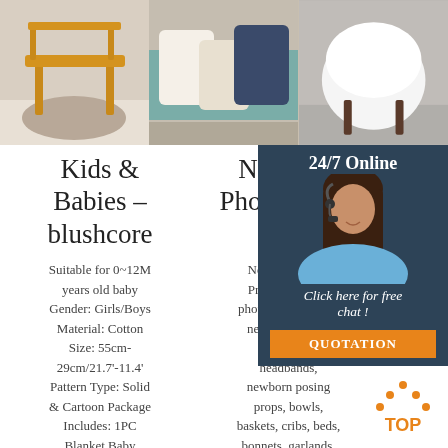[Figure (photo): Three product photos in a row: left shows a fluffy round rug with a wooden bench, center shows decorative pillows on a couch, right shows a fluffy white chair.]
Kids & Babies – blushcore
Suitable for 0~12M years old baby Gender: Girls/Boys Material: Cotton Size: 55cm-29cm/21.7'-11.4' Pattern Type: Solid & Cartoon Package Includes: 1PC Blanket Baby Swaddle: Blanket Newborn blanket:
Newborn Photography Props
Newborn Photo Props, newborn photography props, newborn wraps, newborn headbands, newborn posing props, bowls, baskets, cribs, beds, bonnets, garlands, faux fur & much more. ... Fringed
Cot
Check blanket the v unique handr from
[Figure (infographic): 24/7 Online chat widget overlay with a woman wearing a headset, a 'Click here for free chat!' call to action, and an orange QUOTATION button.]
[Figure (logo): TOP icon with orange dot pattern forming an arrow/house shape above the text TOP]